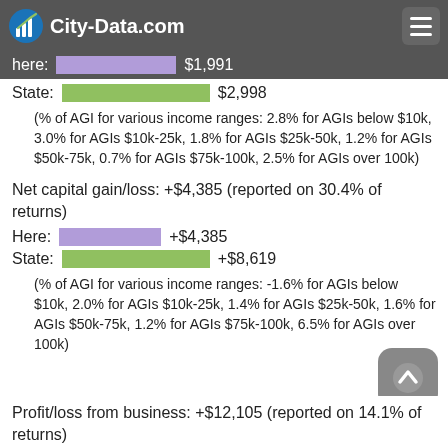City-Data.com
here: $1,991
State: $2,998
(% of AGI for various income ranges: 2.8% for AGIs below $10k, 3.0% for AGIs $10k-25k, 1.8% for AGIs $25k-50k, 1.2% for AGIs $50k-75k, 0.7% for AGIs $75k-100k, 2.5% for AGIs over 100k)
Net capital gain/loss: +$4,385 (reported on 30.4% of returns)
Here: +$4,385
State: +$8,619
(% of AGI for various income ranges: -1.6% for AGIs below $10k, 2.0% for AGIs $10k-25k, 1.4% for AGIs $25k-50k, 1.6% for AGIs $50k-75k, 1.2% for AGIs $75k-100k, 6.5% for AGIs over 100k)
Profit/loss from business: +$12,105 (reported on 14.1% of returns)